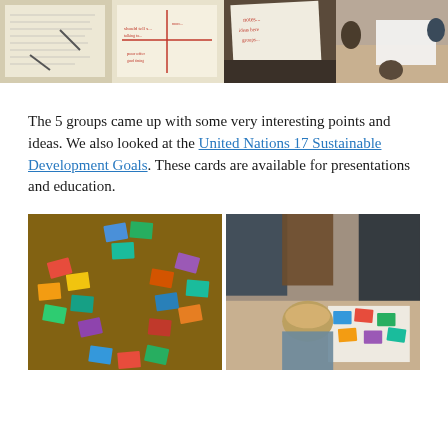[Figure (photo): Four photos in a row showing groups of people working on large paper sheets with handwritten notes during a workshop activity]
The 5 groups came up with some very interesting points and ideas. We also looked at the United Nations 17 Sustainable Development Goals. These cards are available for presentations and education.
[Figure (photo): Two photos side by side: left shows colorful cards arranged in a circle on a brown carpet; right shows people crouching around cards on a table]